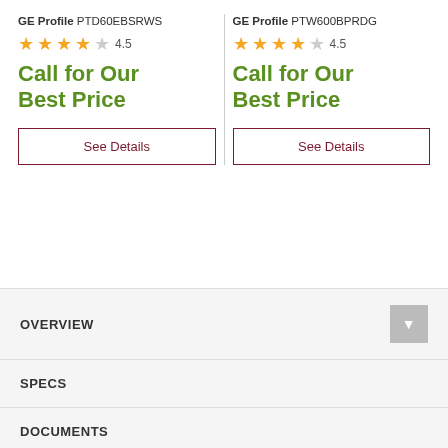GE Profile PTD60EBSRWS
4.5 stars
Call for Our Best Price
See Details
GE Profile PTW600BPRDG
4.5 stars
Call for Our Best Price
See Details
OVERVIEW
SPECS
DOCUMENTS
VIDEOS